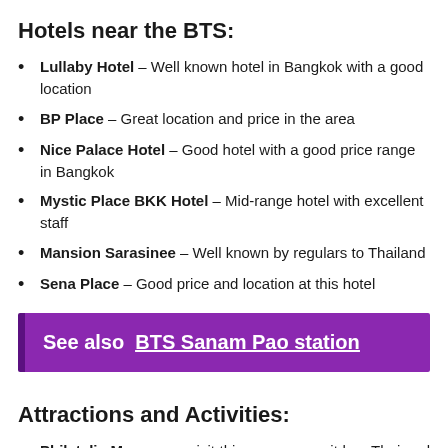Hotels near the BTS:
Lullaby Hotel – Well known hotel in Bangkok with a good location
BP Place – Great location and price in the area
Nice Palace Hotel – Good hotel with a good price range in Bangkok
Mystic Place BKK Hotel – Mid-range hotel with excellent staff
Mansion Sarasinee – Well known by regulars to Thailand
Sena Place – Good price and location at this hotel
See also  BTS Sanam Pao station
Attractions and Activities:
Philatelic Museum – visit this museum as it has Thai and Western stamps dating back to 1881.